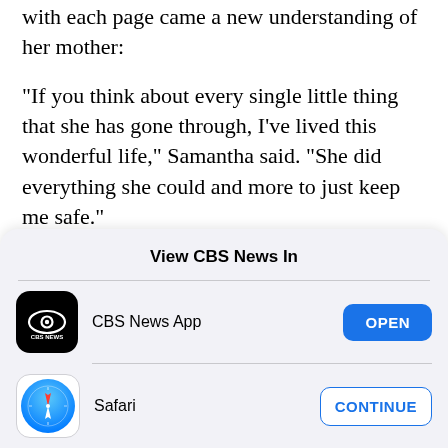with each page came a new understanding of her mother:
"If you think about every single little thing that she has gone through, I've lived this wonderful life," Samantha said. "She did everything she could and more to just keep me safe."
Now, it was Samantha's turn to protect her mother.
View CBS News In
CBS News App
Safari